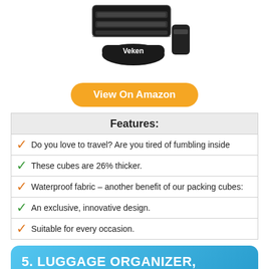[Figure (photo): Product photo of Veken black packing cubes/luggage organizer set stacked together]
View On Amazon
| Features: |
| --- |
| Do you love to travel? Are you tired of fumbling inside |
| These cubes are 26% thicker. |
| Waterproof fabric – another benefit of our packing cubes: |
| An exclusive, innovative design. |
| Suitable for every occasion. |
5. LUGGAGE ORGANIZER, MOSSIO 7 PIECE SUITCASE PORTABLE STORAGE PACKING CASE GREY